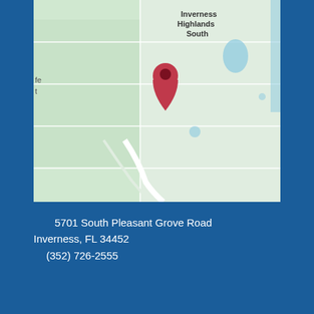[Figure (map): Google Maps view showing a location pin in Inverness, FL area. The map shows street grids with light green and beige areas, a red location marker pin, labels for 'Inverness Highlands South', and partial labels 'fe' and 't' on the left side.]
5701 South Pleasant Grove Road
Inverness, FL 34452
(352) 726-2555